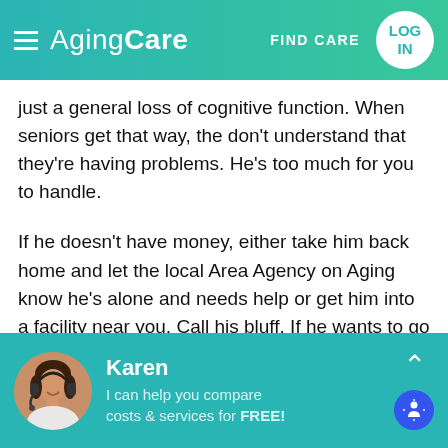AgingCare — FIND CARE — LOG IN
just a general loss of cognitive function. When seniors get that way, the don't understand that they're having problems. He's too much for you to handle.
If he doesn't have money, either take him back home and let the local Area Agency on Aging know he's alone and needs help or get him into a facility near you. Call his bluff. If he wants to go home, take him home. Then call the state and let them take over his care. Wash your hands of him. Or place him in a
Karen — I can help you compare costs & services for FREE!